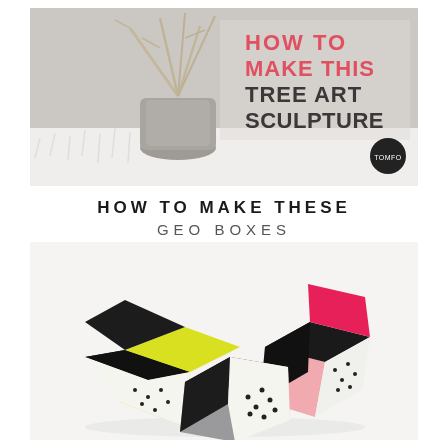[Figure (photo): Photo of branches in a concrete vase on a white fur rug, with text overlay reading HOW TO MAKE THIS TREE ART SCULPTURE in coral/pink and dark gray, with a TOMFO logo circle in bottom right]
HOW TO MAKE THESE GEO BOXES
[Figure (photo): Photo of three geometric origami-style paper boxes on a white surface, colored with black, yellow/lime, pink, gray, and white with black dot pattern]